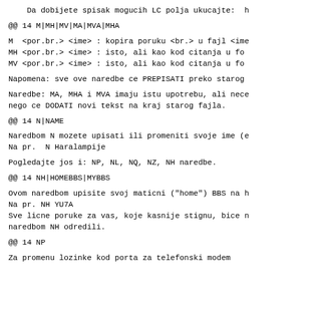Da dobijete spisak mogucih LC polja ukucajte:  h
@@ 14 M|MH|MV|MA|MVA|MHA
M  <por.br.> <ime> : kopira poruku <br.> u fajl <ime
MH <por.br.> <ime> : isto, ali kao kod citanja u fo
MV <por.br.> <ime> : isto, ali kao kod citanja u fo
Napomena: sve ove naredbe ce PREPISATI preko starog
Naredbe: MA, MHA i MVA imaju istu upotrebu, ali nece
nego ce DODATI novi tekst na kraj starog fajla.
@@ 14 N|NAME
Naredbom N mozete upisati ili promeniti svoje ime (e
Na pr.  N Haralampije
Pogledajte jos i: NP, NL, NQ, NZ, NH naredbe.
@@ 14 NH|HOMEBBS|MYBBS
Ovom naredbom upisite svoj maticni ("home") BBS na h
Na pr. NH YU7A
Sve licne poruke za vas, koje kasnije stignu, bice n
naredbom NH odredili.
@@ 14 NP
Za promenu lozinke kod porta za telefonski modem